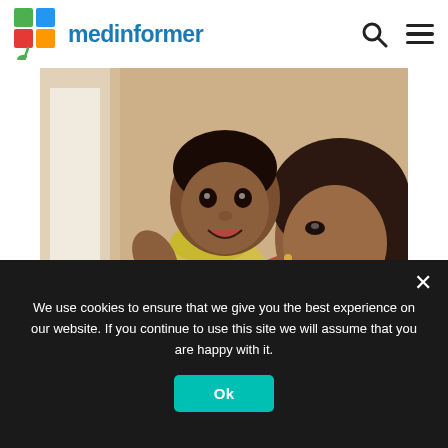medinformer
[Figure (photo): A smiling mother holding up a happy baby dressed in yellow against a light background]
We use cookies to ensure that we give you the best experience on our website. If you continue to use this site we will assume that you are happy with it.